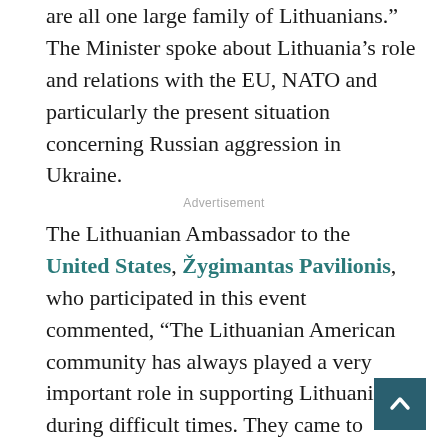are all one large family of Lithuanians.” The Minister spoke about Lithuania’s role and relations with the EU, NATO and particularly the present situation concerning Russian aggression in Ukraine.
Advertisement
The Lithuanian Ambassador to the United States, Žygimantas Pavilionis, who participated in this event commented, “The Lithuanian American community has always played a very important role in supporting Lithuania during difficult times. They came to rescue our souls 25 years ago.” He added, “Today we need them again to demand support to increase US military presence in Lithuania and to halt Putin’s aggression in Ukraine. This conflict may further escalate into a larger